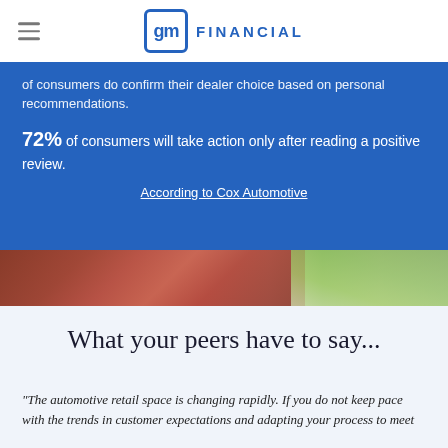GM Financial
of consumers do confirm their dealer choice based on recommendations.
72% of consumers will take action only after reading a positive review.
According to Cox Automotive
[Figure (photo): Photo strip showing a red brick building exterior and green foliage]
What your peers have to say...
“The automotive retail space is changing rapidly. If you do not keep pace with the trends in customer expectations and adapting your process to meet